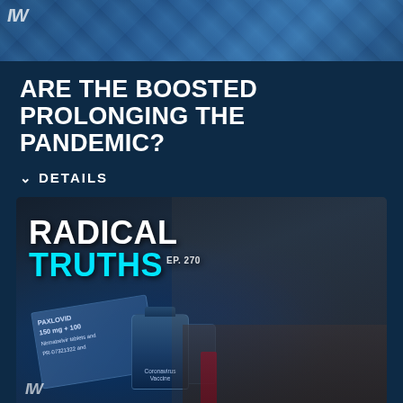[Figure (photo): Top banner image showing medical/vaccine related photo with logo overlay]
ARE THE BOOSTED PROLONGING THE PANDEMIC?
DETAILS
[Figure (photo): Radical Truths EP. 270 podcast thumbnail showing a man in suit with grey hair and beard, with Paxlovid medication box and Coronavirus Vaccine bottles in foreground. Logo visible bottom left.]